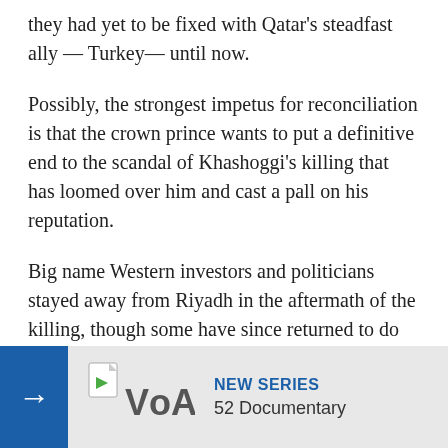they had yet to be fixed with Qatar's steadfast ally — Turkey— until now.
Possibly, the strongest impetus for reconciliation is that the crown prince wants to put a definitive end to the scandal of Khashoggi's killing that has loomed over him and cast a pall on his reputation.
Big name Western investors and politicians stayed away from Riyadh in the aftermath of the killing, though some have since returned to do business again in the kingdom.
Khashoggi had been writing columns in The Washington Post hailing the crown prince's social reforms while arrests of perc the Post, Jeff B investigation t
[Figure (logo): VOA (Voice of America) logo with NEW SERIES and 52 Documentary banner overlay]